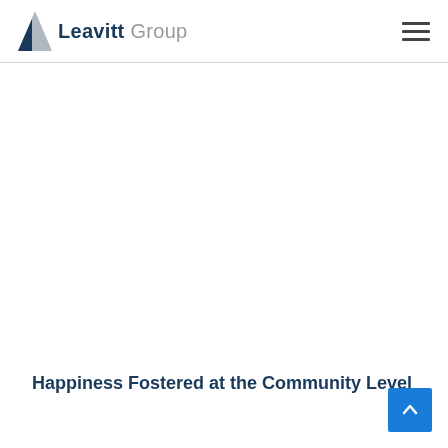Leavitt Group
Happiness Fostered at the Community Level